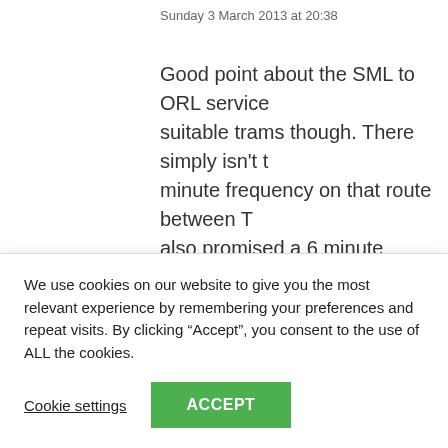Sunday 3 March 2013 at 20:38
Good point about the SML to ORL service suitable trams though. There simply isn't t minute frequency on that route between T also promised a 6 minute frequency but is until the full capacity provided by conversi
Nice work capturing those test trams on F
freel07 says:
Sunday 3 March 2013 at 20:40
We use cookies on our website to give you the most relevant experience by remembering your preferences and repeat visits. By clicking “Accept”, you consent to the use of ALL the cookies.
Cookie settings
ACCEPT